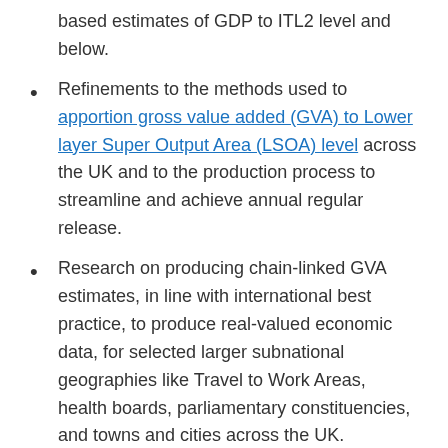based estimates of GDP to ITL2 level and below.
Refinements to the methods used to apportion gross value added (GVA) to Lower layer Super Output Area (LSOA) level across the UK and to the production process to streamline and achieve annual regular release.
Research on producing chain-linked GVA estimates, in line with international best practice, to produce real-valued economic data, for selected larger subnational geographies like Travel to Work Areas, health boards, parliamentary constituencies, and towns and cities across the UK.